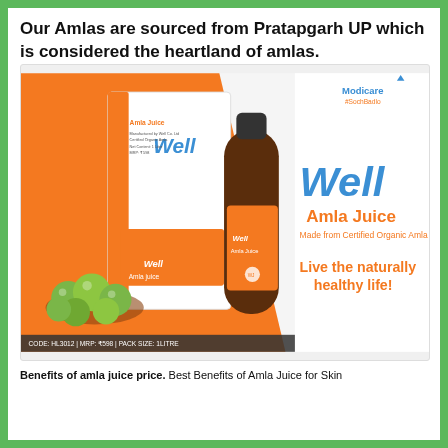Our Amlas are sourced from Pratapgarh UP which is considered the heartland of amlas.
[Figure (photo): Product advertisement image for Well Amla Juice by Modicare. Shows a bottle of dark amber amla juice, product packaging box in orange and white, and green amla fruits in a bowl. Text on image includes: CODE: HL3012 | MRP: ₹598 | PACK SIZE: 1LITRE. Brand logo 'Well' and tagline 'Amla Juice - Made from Certified Organic Amla - Live the naturally healthy life!' on right side. Modicare #SochBadlo logo in top right corner.]
Benefits of amla juice price. Best Benefits of Amla Juice for Skin